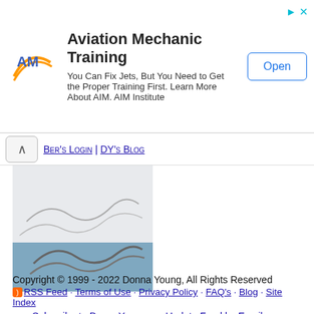[Figure (infographic): Advertisement banner for Aviation Mechanic Training by AIM Institute. Shows AIM logo, title text, description, and an Open button.]
BER's LOGIN | DY's BLOG
[Figure (logo): DonnaYoung.org website logo/signature image with wave design in blue and gray tones.]
Copyright © 1999 - 2022 Donna Young, All Rights Reserved
RSS Feed · Terms of Use · Privacy Policy · FAQ's · Blog · Site Index
Subscribe to DonnaYoung.org Update Feed by Email
DonnaYoung.org
Donna Young's Homeschool Website
Homeschooling
Homeschool Planner
Household
Calendars
Art